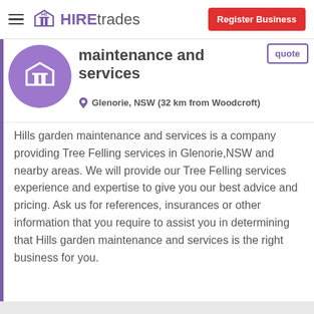HIREtrades | Register Business
maintenance and services
Glenorie, NSW (32 km from Woodcroft)
Hills garden maintenance and services is a company providing Tree Felling services in Glenorie,NSW and nearby areas. We will provide our Tree Felling services experience and expertise to give you our best advice and pricing. Ask us for references, insurances or other information that you require to assist you in determining that Hills garden maintenance and services is the right business for you.